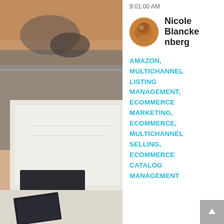[Figure (photo): A photo showing hands near a laptop or printed materials on a desk, dark and light tones]
9:01:00 AM
Nicole Blankenberg
AMAZON, MULTICHANNEL LISTING MANAGEMENT, ECOMMERCE MARKETING, ECOMMERCE, MULTICHANNEL SELLING, ECOMMERCE CATALOG MANAGEMENT